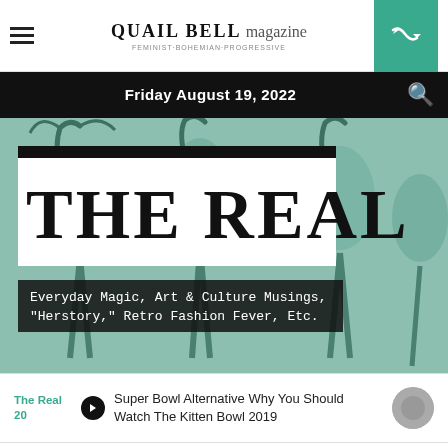QUAIL BELL magazine
Friday August 19, 2022
THE REAL
Everyday Magic, Art & Culture Musings, "Herstory," Retro Fashion Fever, Etc.
The Real 20
Super Bowl Alternative Why You Should Watch The Kitten Bowl 2019